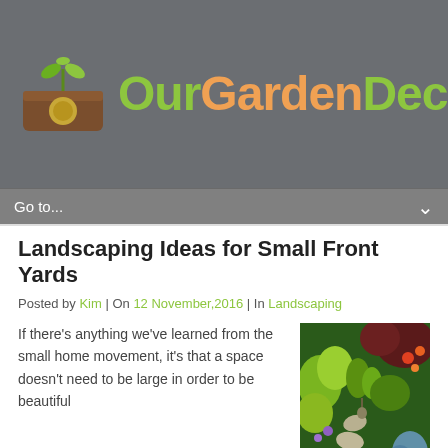[Figure (logo): OurGardenDecor website logo: brown planter box with green seedling and gold circle emblem, next to site name 'OurGardenDecor' in green and orange lettering on grey background]
Go to...
Landscaping Ideas for Small Front Yards
Posted by Kim | On 12 November,2016 | In Landscaping
If there’s anything we’ve learned from the small home movement, it’s that a space doesn’t need to be large in order to be beautiful
[Figure (photo): Lush garden path with stone stepping stones, surrounded by green shrubs, manicured topiaries, colorful flowering plants, and a blue spruce in front yard landscaping]